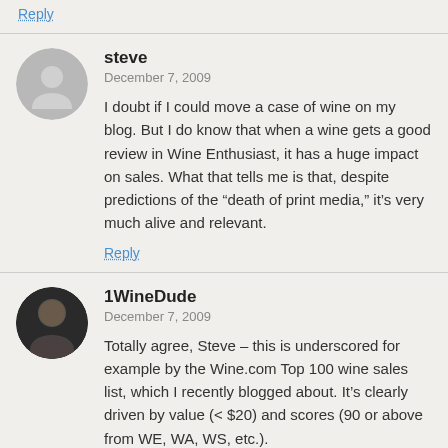Reply
steve
December 7, 2009
I doubt if I could move a case of wine on my blog. But I do know that when a wine gets a good review in Wine Enthusiast, it has a huge impact on sales. What that tells me is that, despite predictions of the “death of print media,” it’s very much alive and relevant.
Reply
1WineDude
December 7, 2009
Totally agree, Steve – this is underscored for example by the Wine.com Top 100 wine sales list, which I recently blogged about. It’s clearly driven by value (< $20) and scores (90 or above from WE, WA, WS, etc.).
Blog coverage is really about *exposure* at the